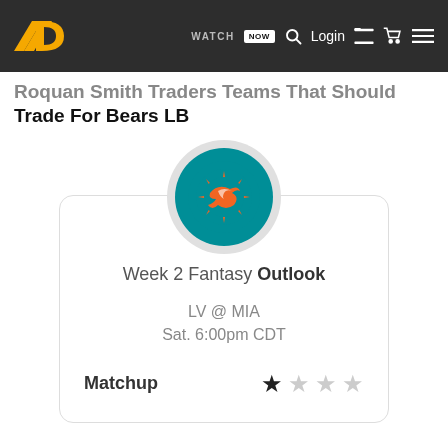WATCH NOW Login
Roquan Smith Traders Teams That Should Trade For Bears LB
[Figure (infographic): Miami Dolphins team logo in teal circular badge with orange dolphin icon]
Week 2 Fantasy Outlook
LV @ MIA
Sat. 6:00pm CDT
Matchup ★☆☆☆☆ (1 out of 5 stars)